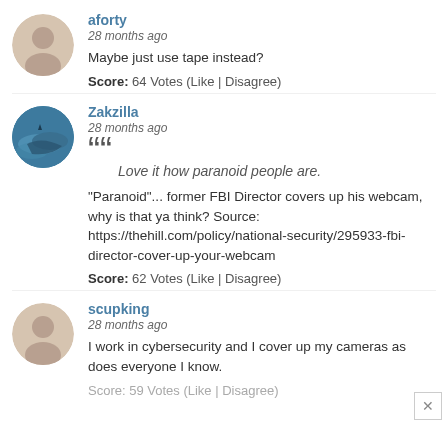aforty
28 months ago
Maybe just use tape instead?
Score: 64 Votes (Like | Disagree)
Zakzilla
28 months ago
Love it how paranoid people are.
"Paranoid"... former FBI Director covers up his webcam, why is that ya think? Source: https://thehill.com/policy/national-security/295933-fbi-director-cover-up-your-webcam
Score: 62 Votes (Like | Disagree)
scupking
28 months ago
I work in cybersecurity and I cover up my cameras as does everyone I know.
Score: 59 Votes (Like | Disagree)